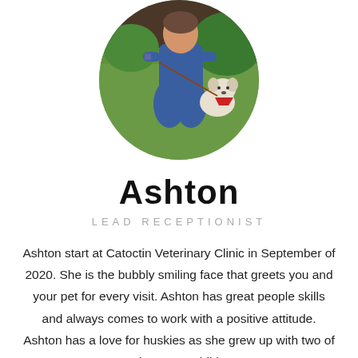[Figure (photo): Circular profile photo of Ashton kneeling on grass with a small white dog wearing a red bandana, outdoors with greenery in background]
Ashton
LEAD RECEPTIONIST
Ashton start at Catoctin Veterinary Clinic in September of 2020. She is the bubbly smiling face that greets you and your pet for every visit. Ashton has great people skills and always comes to work with a positive attitude. Ashton has a love for huskies as she grew up with two of them as a child.